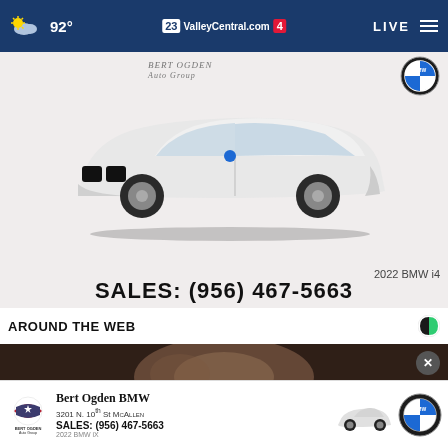92° ValleyCentral.com 23 / 4 | LIVE
[Figure (photo): Advertisement for Bert Ogden Auto Group featuring a white 2022 BMW i4 sedan with sales phone number SALES: (956) 467-5663]
AROUND THE WEB
[Figure (photo): Dark close-up photo strip, appears to show a human face in soft focus]
[Figure (photo): Bottom banner ad for Bert Ogden BMW at 3201 N. 10th St McAllen, SALES: (956) 467-5663, with BMW logo and white BMW iX image. Close button visible.]